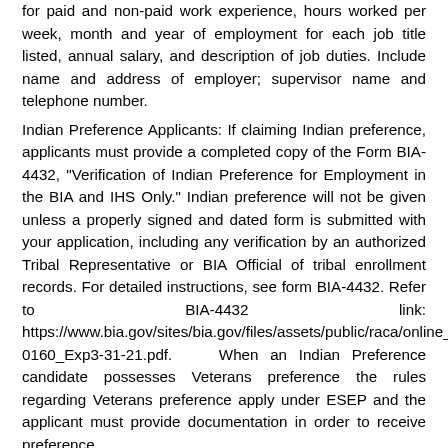for paid and non-paid work experience, hours worked per week, month and year of employment for each job title listed, annual salary, and description of job duties. Include name and address of employer; supervisor name and telephone number.
Indian Preference Applicants: If claiming Indian preference, applicants must provide a completed copy of the Form BIA-4432, "Verification of Indian Preference for Employment in the BIA and IHS Only." Indian preference will not be given unless a properly signed and dated form is submitted with your application, including any verification by an authorized Tribal Representative or BIA Official of tribal enrollment records. For detailed instructions, see form BIA-4432. Refer to BIA-4432 link: https://www.bia.gov/sites/bia.gov/files/assets/public/raca/online_forms/pdf/IndianPref_1076-0160_Exp3-31-21.pdf. When an Indian Preference candidate possesses Veterans preference the rules regarding Veterans preference apply under ESEP and the applicant must provide documentation in order to receive preference.